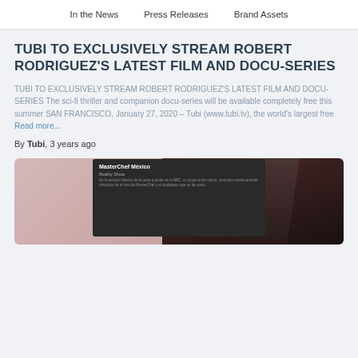In the News   Press Releases   Brand Assets
TUBI TO EXCLUSIVELY STREAM ROBERT RODRIGUEZ'S LATEST FILM AND DOCU-SERIES
TUBI TO EXCLUSIVELY STREAM ROBERT RODRIGUEZ'S LATEST FILM AND DOCU-SERIES The sci-fi thriller and companion docu-series will be available completely free this summer SAN FRANCISCO, January 27, 2020 – Tubi (www.tubi.tv), the world's largest free Read more...
By Tubi, 3 years ago
[Figure (screenshot): Screenshot of a streaming card showing 'MasterChef México' on a dark background with a person's silhouette]